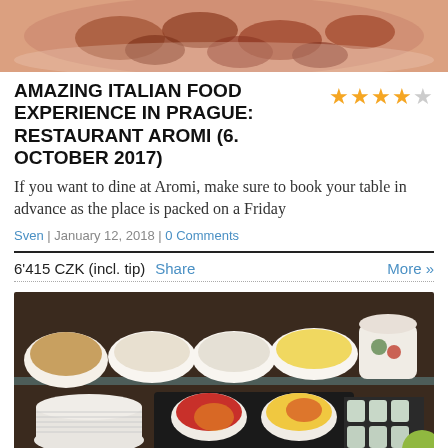[Figure (photo): Top portion: close-up photo of cooked meat pieces in a light pink/cream dish]
AMAZING ITALIAN FOOD EXPERIENCE IN PRAGUE: RESTAURANT AROMI (6. OCTOBER 2017)
If you want to dine at Aromi, make sure to book your table in advance as the place is packed on a Friday
Sven | January 12, 2018 | 0 Comments
6'415 CZK (incl. tip)  Share                                                        More »
[Figure (photo): Photo of a buffet/salad bar with multiple white bowls filled with various salads and dishes, plates stacked on the left, small glass jars on the right]